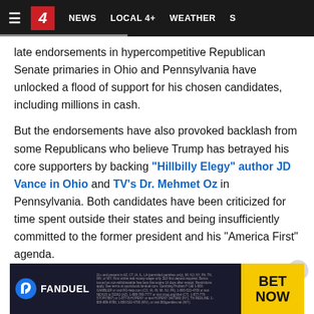≡  4  NEWS  LOCAL 4+  WEATHER  S
late endorsements in hypercompetitive Republican Senate primaries in Ohio and Pennsylvania have unlocked a flood of support for his chosen candidates, including millions in cash.
But the endorsements have also provoked backlash from some Republicans who believe Trump has betrayed his core supporters by backing "Hillbilly Elegy" author JD Vance in Ohio and TV's Dr. Mehmet Oz in Pennsylvania. Both candidates have been criticized for time spent outside their states and being insufficiently committed to the former president and his "America First" agenda.
[Figure (other): FanDuel advertisement banner with logo, fine print, and BET NOW call to action on yellow background]